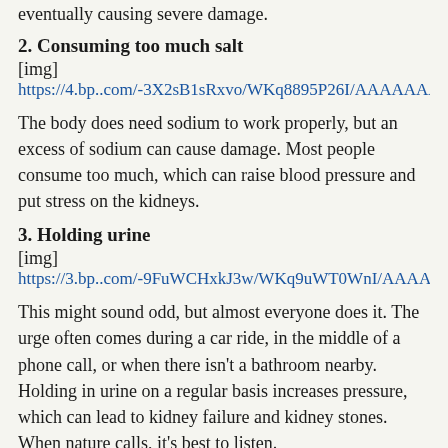eventually causing severe damage.
2. Consuming too much salt
[img]https://4.bp..com/-3X2sB1sRxvo/WKq8895P26I/AAAAAAAA...
The body does need sodium to work properly, but an excess of sodium can cause damage. Most people consume too much, which can raise blood pressure and put stress on the kidneys.
3. Holding urine
[img]https://3.bp..com/-9FuWCHxkJ3w/WKq9uWT0WnI/AAAAAAA...
This might sound odd, but almost everyone does it. The urge often comes during a car ride, in the middle of a phone call, or when there isn't a bathroom nearby. Holding in urine on a regular basis increases pressure, which can lead to kidney failure and kidney stones. When nature calls, it's best to listen.
4. Taking too much coffee